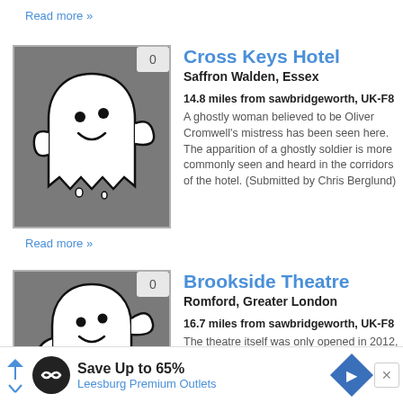Read more »
[Figure (illustration): Ghost illustration with vote badge showing 0 for Cross Keys Hotel]
Cross Keys Hotel
Saffron Walden, Essex
14.8 miles from sawbridgeworth, UK-F8
A ghostly woman believed to be Oliver Cromwell's mistress has been seen here. The apparition of a ghostly soldier is more commonly seen and heard in the corridors of the hotel. (Submitted by Chris Berglund)
Read more »
[Figure (illustration): Ghost illustration with vote badge showing 0 for Brookside Theatre]
Brookside Theatre
Romford, Greater London
16.7 miles from sawbridgeworth, UK-F8
The theatre itself was only opened in 2012, but the building has existed since the 1950's. Security footage of poltergeist activity has
[Figure (infographic): Advertisement banner: Save Up to 65% Leesburg Premium Outlets]